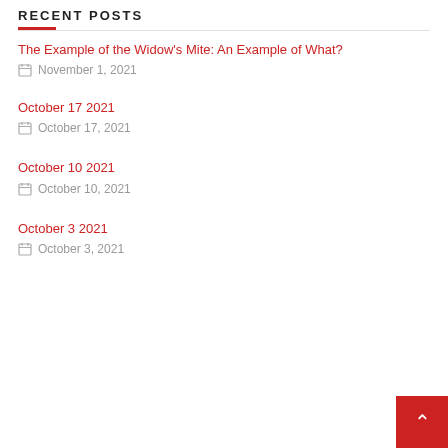RECENT POSTS
The Example of the Widow's Mite: An Example of What?
November 1, 2021
October 17 2021
October 17, 2021
October 10 2021
October 10, 2021
October 3 2021
October 3, 2021